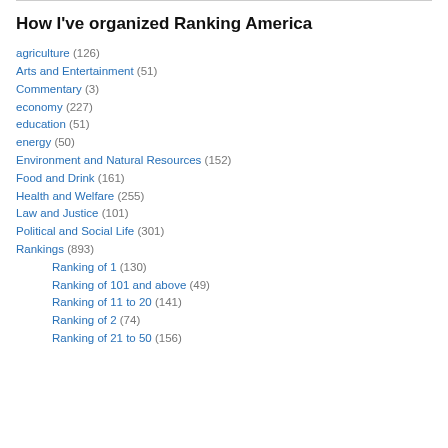How I've organized Ranking America
agriculture (126)
Arts and Entertainment (51)
Commentary (3)
economy (227)
education (51)
energy (50)
Environment and Natural Resources (152)
Food and Drink (161)
Health and Welfare (255)
Law and Justice (101)
Political and Social Life (301)
Rankings (893)
Ranking of 1 (130)
Ranking of 101 and above (49)
Ranking of 11 to 20 (141)
Ranking of 2 (74)
Ranking of 21 to 50 (156)